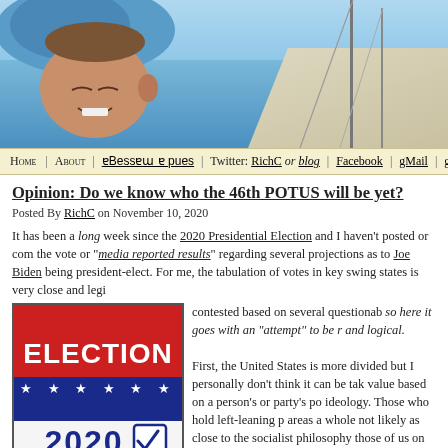[Figure (photo): Header photo showing a person hanging upside down over a sailboat deck with ocean in background]
Home | About | aBessew e pues | Twitter: RichC or blog | Facebook | gMail | gDrive
Opinion: Do we know who the 46th POTUS will be yet?
Posted By RichC on November 10, 2020
It has been a long week since the 2020 Presidential Election and I haven't posted or commented on the vote or "media reported results" regarding several projections as to Joe Biden being president-elect. For me, the tabulation of votes in key swing states is very close and legi- contested based on several questionable so here it goes with an "attempt" to be r and logical.
[Figure (illustration): Election 2020 logo with red, white and blue colors and a checkmark]
First, the United States is more divided but I personally don't think it can be tak value based on a person's or party's po ideology. Those who hold left-leaning p areas a whole not likely as close to the socialist philosophy those of us on the r